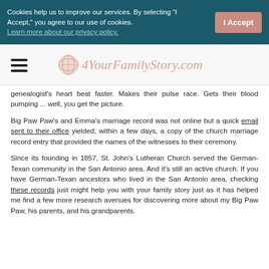Cookies help us to improve our services. By selecting "I Accept," you agree to our use of cookies. Learn more about our privacy policy.  [I Accept button]
[Figure (logo): 4YourFamilyStory.com logo with hamburger menu icon and a pink globe icon]
genealogist's heart beat faster. Makes their pulse race. Gets their blood pumping ... well, you get the picture.
Big Paw Paw's and Emma's marriage record was not online but a quick email sent to their office yielded, within a few days, a copy of the church marriage record entry that provided the names of the witnesses to their ceremony.
Since its founding in 1857, St. John's Lutheran Church served the German-Texan community in the San Antonio area. And it's still an active church. If you have German-Texan ancestors who lived in the San Antonio area, checking these records just might help you with your family story just as it has helped me find a few more research avenues for discovering more about my Big Paw Paw, his parents, and his grandparents.